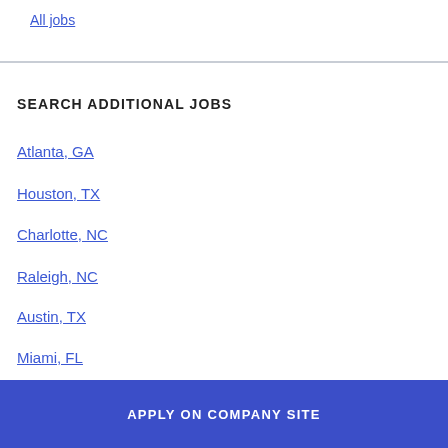All jobs
SEARCH ADDITIONAL JOBS
Atlanta, GA
Houston, TX
Charlotte, NC
Raleigh, NC
Austin, TX
Miami, FL
APPLY ON COMPANY SITE